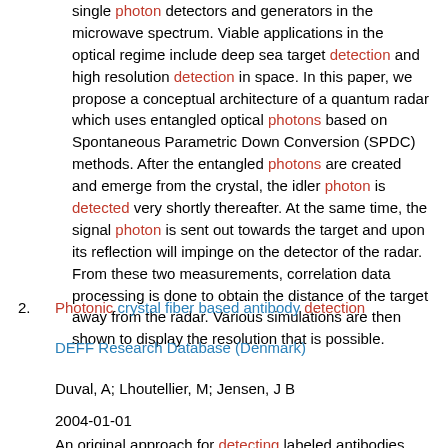single photon detectors and generators in the microwave spectrum. Viable applications in the optical regime include deep sea target detection and high resolution detection in space. In this paper, we propose a conceptual architecture of a quantum radar which uses entangled optical photons based on Spontaneous Parametric Down Conversion (SPDC) methods. After the entangled photons are created and emerge from the crystal, the idler photon is detected very shortly thereafter. At the same time, the signal photon is sent out towards the target and upon its reflection will impinge on the detector of the radar. From these two measurements, correlation data processing is done to obtain the distance of the target away from the radar. Various simulations are then shown to display the resolution that is possible.
2. Photonic crystal fiber based antibody detection
DEFF Research Database (Denmark)
Duval, A; Lhoutellier, M; Jensen, J B
2004-01-01
An original approach for detecting labeled antibodies based on